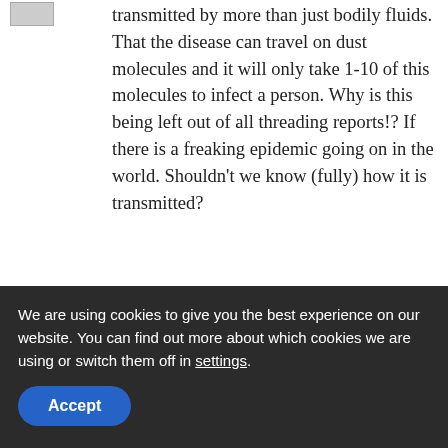[Figure (other): Small avatar/user image placeholder (grey box)]
transmitted by more than just bodily fluids. That the disease can travel on dust molecules and it will only take 1-10 of this molecules to infect a person. Why is this being left out of all threading reports!? If there is a freaking epidemic going on in the world. Shouldn't we know (fully) how it is transmitted?
REPLY
Leave a Reply
We are using cookies to give you the best experience on our website. You can find out more about which cookies we are using or switch them off in settings.
Accept